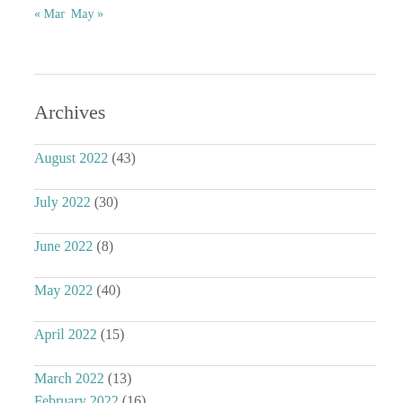« Mar   May »
Archives
August 2022 (43)
July 2022 (30)
June 2022 (8)
May 2022 (40)
April 2022 (15)
March 2022 (13)
February 2022 (16)